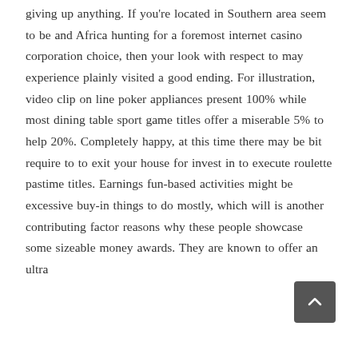giving up anything. If you're located in Southern area seem to be and Africa hunting for a foremost internet casino corporation choice, then your look with respect to may experience plainly visited a good ending. For illustration, video clip on line poker appliances present 100% while most dining table sport game titles offer a miserable 5% to help 20%. Completely happy, at this time there may be bit require to to exit your house for invest in to execute roulette pastime titles. Earnings fun-based activities might be excessive buy-in things to do mostly, which will is another contributing factor reasons why these people showcase some sizeable money awards. They are known to offer an ultra